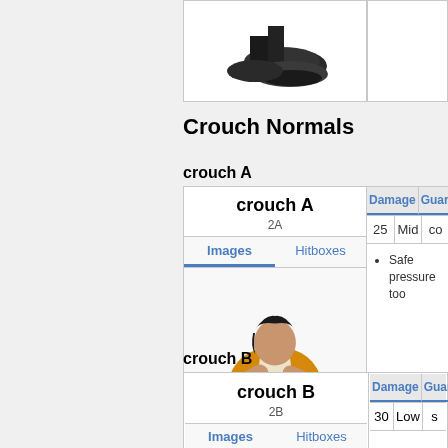[Figure (photo): Partial view of character's feet/shoes from a fighting game move]
Crouch Normals
crouch A
| crouch A / Images / Hitboxes | Damage | Guard | C... |
| --- | --- | --- | --- |
| 2A |  |  |  |
| [char image] | 25 | Mid | co... |
|  | Safe pressure too... |  |  |
crouch B
| crouch B / Images / Hitboxes | Damage | Guard | Ca... |
| --- | --- | --- | --- |
| 2B |  |  |  |
|  | 30 | Low | s... |